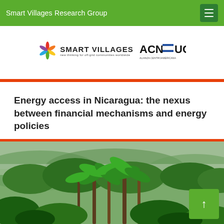Smart Villages Research Group
[Figure (logo): Smart Villages logo with colorful star/snowflake icon and ACN / UCA partner logos]
Energy access in Nicaragua: the nexus between financial mechanisms and energy policies
[Figure (photo): Tropical jungle/forest landscape photo showing banana trees and lush green vegetation with mountains in the background in Nicaragua]